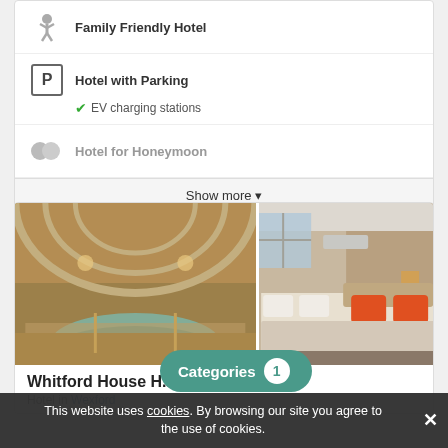Family Friendly Hotel
Hotel with Parking
EV charging stations
Hotel for Honeymoon
Show more
[Figure (photo): Indoor spa pool with arched glass ceiling]
[Figure (photo): Hotel bedroom with orange pillows and white bedding]
Whitford House H...
Hotel in Wexford
Categories 1
This website uses cookies. By browsing our site you agree to the use of cookies.